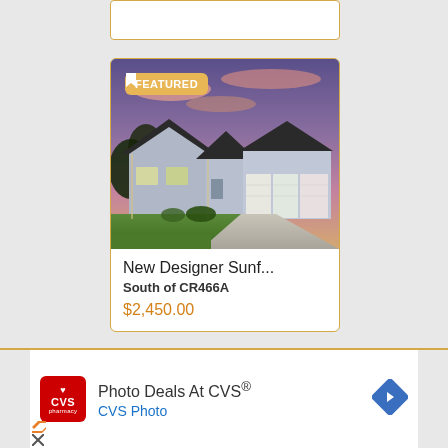[Figure (photo): Featured real estate listing showing a modern single-story home with a three-car garage, concrete driveway, green lawn, and a purple/pink sunset sky. A gold FEATURED badge is shown in the top left of the image.]
New Designer Sunf...
South of CR466A
$2,450.00
[Figure (logo): CVS Pharmacy logo - red square with heart and CVS pharmacy text in white]
Photo Deals At CVS®
CVS Photo